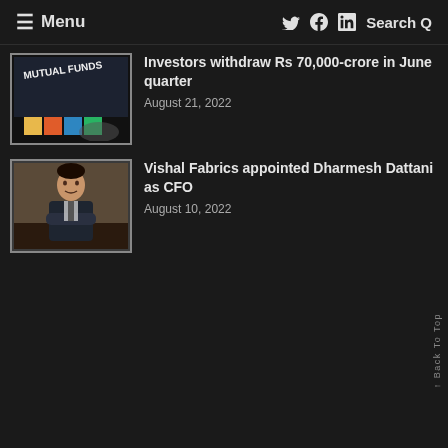≡ Menu   Twitter Facebook LinkedIn   Search Q
Investors withdraw Rs 70,000-crore in June quarter
August 21, 2022
[Figure (photo): Image of a chalkboard with 'MUTUAL FUNDS' written on it, with colorful bar chart blocks below]
Vishal Fabrics appointed Dharmesh Dattani as CFO
August 10, 2022
[Figure (photo): Portrait photo of a man in a dark suit with arms crossed, seated in an office setting]
Back To Top ↑